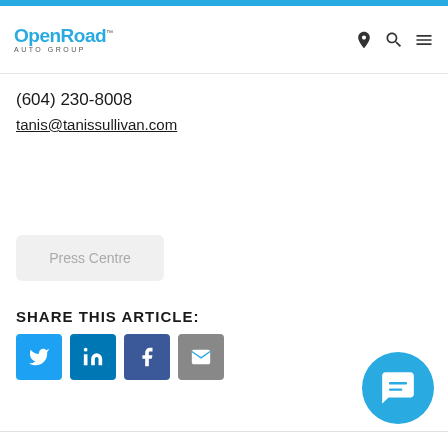OpenRoad Auto Group
(604) 230-8008
tanis@tanissullivan.com
Press Centre
SHARE THIS ARTICLE:
[Figure (infographic): Social share buttons: Twitter, LinkedIn, Facebook, Email]
[Figure (infographic): Chat bubble icon in bottom right corner]